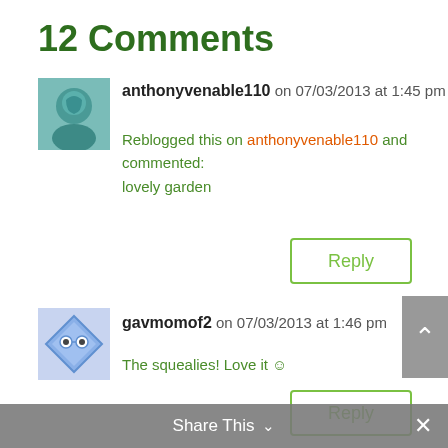12 Comments
anthonyvenable110 on 07/03/2013 at 1:45 pm
Reblogged this on anthonyvenable110 and commented:
lovely garden
Reply
gavmomof2 on 07/03/2013 at 1:46 pm
The squealies! Love it 😊
Reply
hailey j on 10/04/2013 at 6:43 pm
Hey there! I have been wanting to start a tiny
Share This